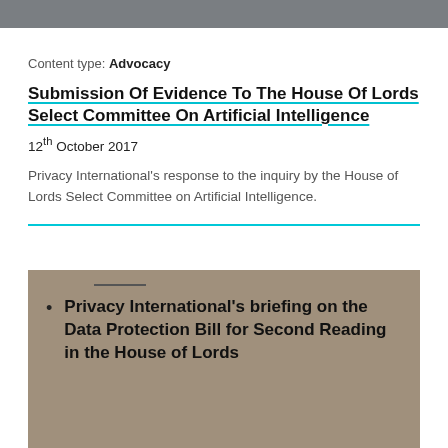Content type: Advocacy
Submission Of Evidence To The House Of Lords Select Committee On Artificial Intelligence
12th October 2017
Privacy International's response to the inquiry by the House of Lords Select Committee on Artificial Intelligence.
Privacy International's briefing on the Data Protection Bill for Second Reading in the House of Lords